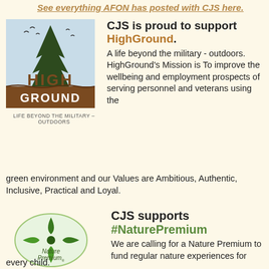See everything AFON has posted with CJS here.
[Figure (logo): HighGround logo with tree silhouette and text 'HIGH GROUND' and tagline 'LIFE BEYOND THE MILITARY – OUTDOORS']
CJS is proud to support HighGround. A life beyond the military - outdoors. HighGround's Mission is To improve the wellbeing and employment prospects of serving personnel and veterans using the green environment and our Values are Ambitious, Authentic, Inclusive, Practical and Loyal.
[Figure (logo): Nature Premium logo with green leaf compass rose and text 'Nature Premium']
CJS supports #NaturePremium We are calling for a Nature Premium to fund regular nature experiences for every child.
'We believe that the Nature Premium would improve